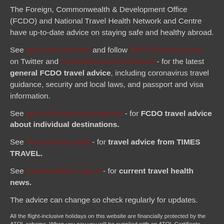The Foreign, Commonwealth & Development Office (FCDO) and National Travel Health Network and Centre have up-to-date advice on staying safe and healthy abroad.
See gov.uk/travelaware and follow @FCDOtravelGovUK on Twitter and Facebook.com/FCDOtravel - for the latest general FCDO travel advice, including coronavirus travel guidance, security and local laws, and passport and visa information.
See gov.uk/foreign-travel-advice/ - for FCDO travel advice about individual destinations.
See Travel Aware page - for travel advice from TIMES TRAVEL.
See travelhealthpro.org.uk - for current travel health news.
The advice can change so check regularly for updates.
All the flight-inclusive holidays on this website are financially protected by the ATOL scheme. When you pay you will be supplied with an ATOL Certificate.